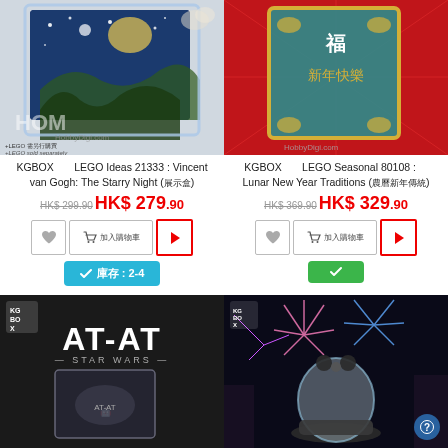[Figure (photo): KGBOX display case with LEGO Ideas 21333 Vincent van Gogh The Starry Night inside, shown with white flowers in background. Text: +LEGO 需另行購買 / +LEGO sold separately. HobbyDigi.com watermark.]
[Figure (photo): KGBOX display case with LEGO Seasonal 80108 Lunar New Year Traditions set inside, shown on red festive background with golden decorations. HobbyDigi.com watermark.]
KGBOX    LEGO Ideas 21333 : Vincent van Gogh: The Starry Night (展示盒)
KGBOX    LEGO Seasonal 80108 :    Lunar New Year Traditions (農曆新年傳統)
HK$ 299.90  HK$ 279.90
HK$ 369.90  HK$ 329.90
✓ 庫存 : 2-4
✓
[Figure (photo): KGBOX AT-AT Star Wars display case product image on dark background, with KGBOX logo top left.]
[Figure (photo): KGBOX display case with fireworks background, showing a glass dome product. Help button (circle with question mark) in bottom right.]